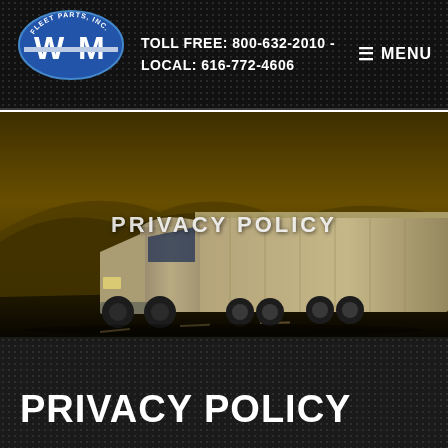TOLL FREE: 800-632-2010 - LOCAL: 616-772-4606 | MENU
[Figure (logo): WM Fleet Parts, Inc. logo — blue oval badge with 'FLEET PARTS, INC.' text and large W and M letters with horizontal bar]
[Figure (photo): A large white semi-truck with trailer driving on a highway through hilly landscape at golden hour/dusk lighting. The words PRIVACY POLICY appear as a text overlay in white letters centered on the image.]
PRIVACY POLICY